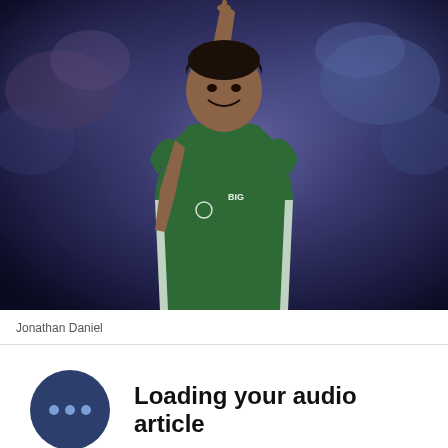[Figure (photo): A young male basketball player wearing a green and white Michigan State jersey with 'BIG' logo, smiling and pointing one finger upward toward the crowd in a blurred arena background.]
Jonathan Daniel
Loading your audio article